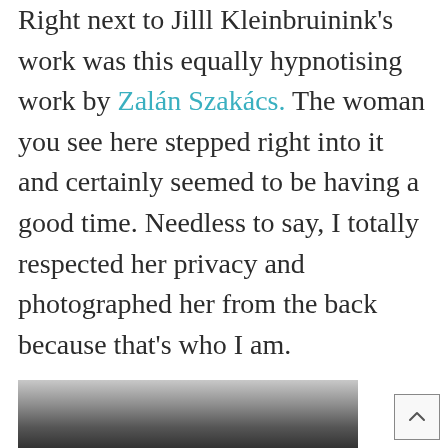Right next to Jilll Kleinbruinink's work was this equally hypnotising work by Zalán Szakács. The woman you see here stepped right into it and certainly seemed to be having a good time. Needless to say, I totally respected her privacy and photographed her from the back because that's who I am.
[Figure (photo): Bottom portion of a photograph showing what appears to be a horizontal bar or ledge against a grey/white background]